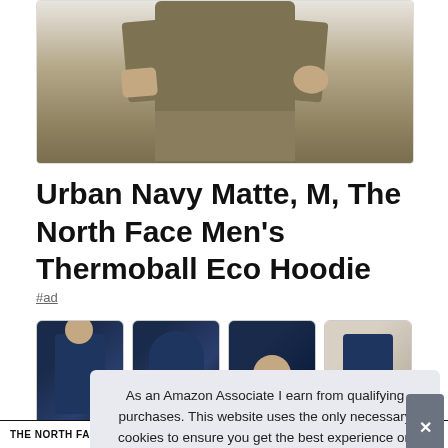[Figure (photo): Product photo of a man wearing a dark navy jacket, showing torso and hands area with olive/khaki pants]
Urban Navy Matte, M, The North Face Men's Thermoball Eco Hoodie
#ad
[Figure (photo): Four product thumbnail images of The North Face Men's Thermoball Eco Hoodie in Urban Navy, showing back view, side view, face/collar close-up, and partial side view]
As an Amazon Associate I earn from qualifying purchases. This website uses the only necessary cookies to ensure you get the best experience on our website. More information
THE NORTH FACE ... Thermoball. This hooded jacket stows